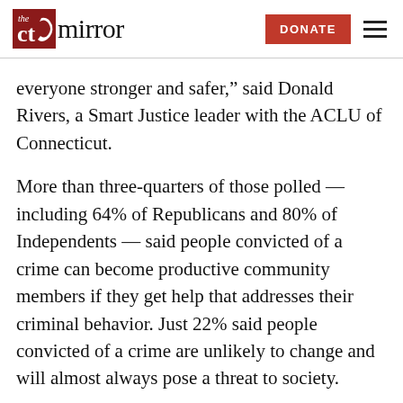The CT Mirror | DONATE
everyone stronger and safer,” said Donald Rivers, a Smart Justice leader with the ACLU of Connecticut.
More than three-quarters of those polled — including 64% of Republicans and 80% of Independents — said people convicted of a crime can become productive community members if they get help that addresses their criminal behavior. Just 22% said people convicted of a crime are unlikely to change and will almost always pose a threat to society.